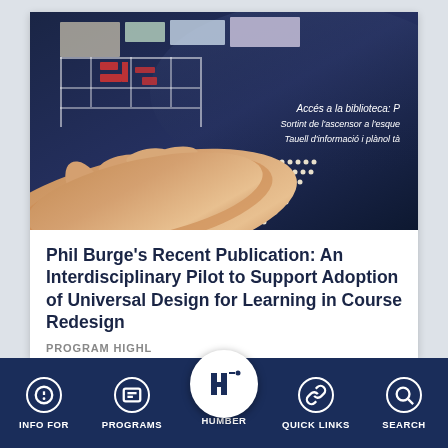[Figure (photo): A hand reading a tactile/braille map board with Catalan text reading 'Accés a la biblioteca: Sortint de l'ascensor a l'esquerra. Tauell d'informació i plànol tàctil.' The board is dark navy with white braille dots and colored map elements.]
Phil Burge's Recent Publication: An Interdisciplinary Pilot to Support Adoption of Universal Design for Learning in Course Redesign
PROGRAM HIGHL
INFO FOR  PROGRAMS  HUMBER  QUICK LINKS  SEARCH